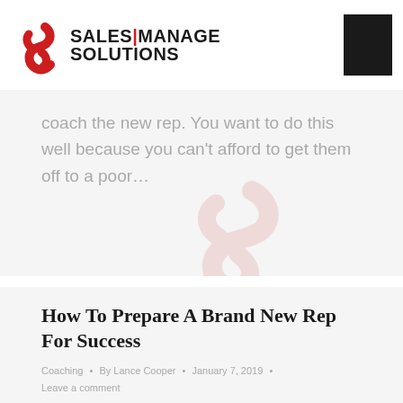SALES|MANAGE SOLUTIONS
coach the new rep. You want to do this well because you can't afford to get them off to a poor…
How To Prepare A Brand New Rep For Success
Coaching · By Lance Cooper · January 7, 2019 · Leave a comment
How do you prepare a brand new rep for